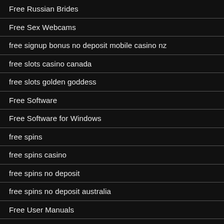Free Russian Brides
Free Sex Webcams
free signup bonus no deposit mobile casino nz
free slots casino canada
free slots golden goddess
Free Software
Free Software for Windows
free spins
free spins casino
free spins no deposit
free spins no deposit australia
Free User Manuals